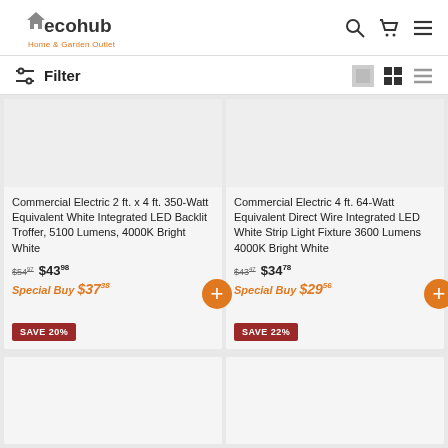decohub Home & Garden Outlet
Filter
Commercial Electric 2 ft. x 4 ft. 350-Watt Equivalent White Integrated LED Backlit Troffer, 5100 Lumens, 4000K Bright White
$54.97  $43.98  Special Buy $37.38  SAVE 20%
Commercial Electric 4 ft. 64-Watt Equivalent Direct Wire Integrated LED White Strip Light Fixture 3600 Lumens 4000K Bright White
$43.47  $34.78  Special Buy $29.56  SAVE 22%